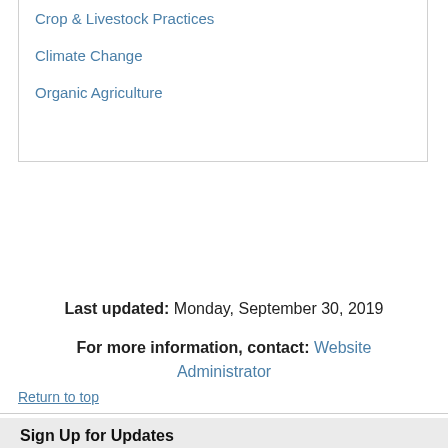Crop & Livestock Practices
Climate Change
Organic Agriculture
Last updated: Monday, September 30, 2019
For more information, contact: Website Administrator
Return to top
Sign Up for Updates